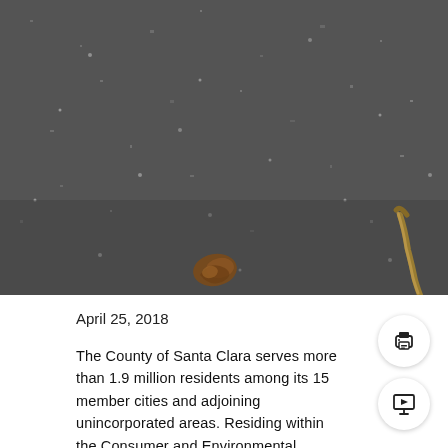[Figure (photo): Close-up photograph of dark asphalt/gravel surface with two small brown dried organic objects (possibly insect larvae or plant debris) visible — one in the lower left area and one in the lower right area of the frame.]
April 25, 2018
The County of Santa Clara serves more than 1.9 million residents among its 15 member cities and adjoining unincorporated areas. Residing within the Consumer and Environmental Protection Agency and at the heart of protecting the region's growing and diverse community from